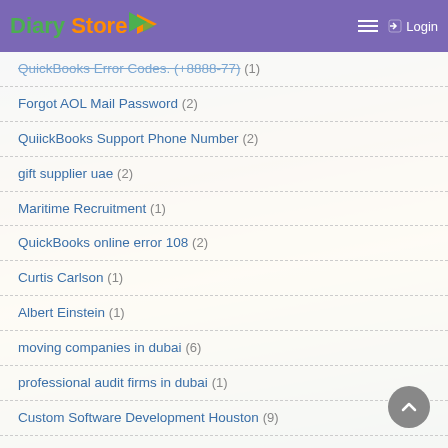Diary Store - Login
QuickBooks Error Codes. (+8888-77) (1)
Forgot AOL Mail Password (2)
QuiickBooks Support Phone Number (2)
gift supplier uae (2)
Maritime Recruitment (1)
QuickBooks online error 108 (2)
Curtis Carlson (1)
Albert Einstein (1)
moving companies in dubai (6)
professional audit firms in dubai (1)
Custom Software Development Houston (9)
Randy Pausch (1)
silver photo frames (1)